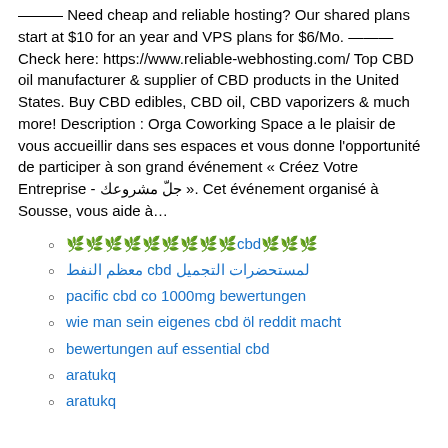——— Need cheap and reliable hosting? Our shared plans start at $10 for an year and VPS plans for $6/Mo. ——— Check here: https://www.reliable-webhosting.com/ Top CBD oil manufacturer & supplier of CBD products in the United States. Buy CBD edibles, CBD oil, CBD vaporizers & much more! Description : Orga Coworking Space a le plaisir de vous accueillir dans ses espaces et vous donne l'opportunité de participer à son grand événement « Créez Votre Entreprise - جلّ مشروعك ». Cet événement organisé à Sousse, vous aide à...
🌿🌿🌿🌿🌿🌿🌿🌿🌿cbd🌿🌿🌿
لمستحضرات التجميل cbd معظم النفط
pacific cbd co 1000mg bewertungen
wie man sein eigenes cbd öl reddit macht
bewertungen auf essential cbd
aratukq
aratukq